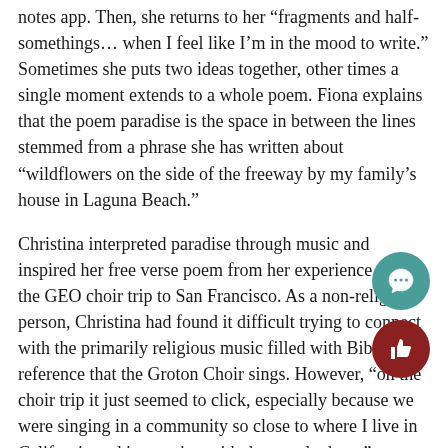notes app. Then, she returns to her "fragments and half-somethings... when I feel like I'm in the mood to write." Sometimes she puts two ideas together, other times a single moment extends to a whole poem. Fiona explains that the poem paradise is the space in between the lines stemmed from a phrase she has written about "wildflowers on the side of the freeway by my family's house in Laguna Beach."
Christina interpreted paradise through music and inspired her free verse poem from her experience during the GEO choir trip to San Francisco. As a non-religious person, Christina had found it difficult trying to connect with the primarily religious music filled with Biblical reference that the Groton Choir sings. However, "on the choir trip it just seemed to click, especially because we were singing in a community so close to where I live in California and interacting with the people there." Christina finally found paradise in music she once felt so distanced f
Poetry club did a poetry slam night on April 11th inviting all contestants to deliver their poems. All submitted poems will be displayed in the library during April as an appreciation fo